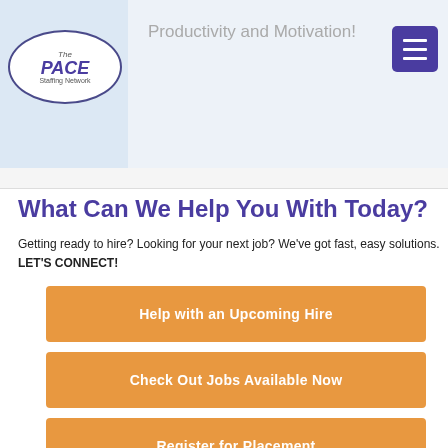Productivity and Motivation!
[Figure (logo): The PACE Staffing Network oval logo]
What Can We Help You With Today?
Getting ready to hire?  Looking for your next job?  We've got fast, easy solutions.  LET'S CONNECT!
Help with an Upcoming Hire
Check Out Jobs Available Now
Register for Placement